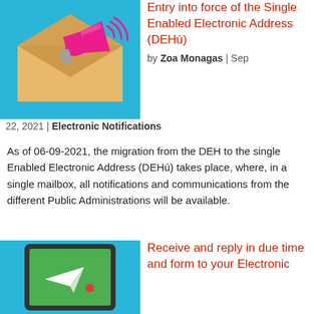[Figure (illustration): Illustration of a pink megaphone emerging from an open envelope on a light blue background]
Entry into force of the Single Enabled Electronic Address (DEHú)
by Zoa Monagas | Sep 22, 2021 | Electronic Notifications
As of 06-09-2021, the migration from the DEH to the single Enabled Electronic Address (DEHú) takes place, where, in a single mailbox, all notifications and communications from the different Public Administrations will be available.
[Figure (illustration): Illustration of a paper airplane coming out of a tablet device on a light blue background]
Receive and reply in due time and form to your Electronic